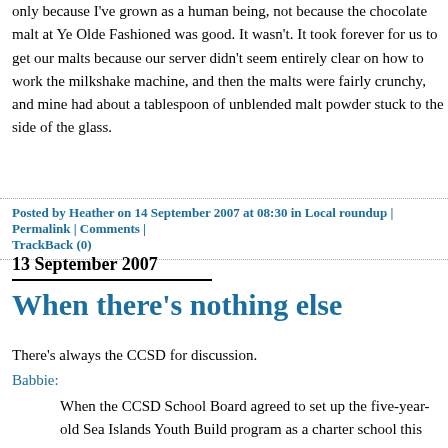only because I've grown as a human being, not because the chocolate malt at Ye Olde Fashioned was good. It wasn't. It took forever for us to get our malts because our server didn't seem entirely clear on how to work the milkshake machine, and then the malts were fairly crunchy, and mine had about a tablespoon of unblended malt powder stuck to the side of the glass.
Posted by Heather on 14 September 2007 at 08:30 in Local roundup | Permalink | Comments | TrackBack (0)
13 September 2007
When there's nothing else
There's always the CCSD for discussion.
Babbie:
When the CCSD School Board agreed to set up the five-year-old Sea Islands Youth Build program as a charter school this year, an approximately 10-student-per-year program became one for 75 students-- in the same space. When questioned at the time by the Board, Renee Chewning, its director, assured them that suitable quarters for the enlarged school were available for 2007-08. Almost $100,000 had been given to the school prior to alarm bells going off at 75 Calhoun Street.